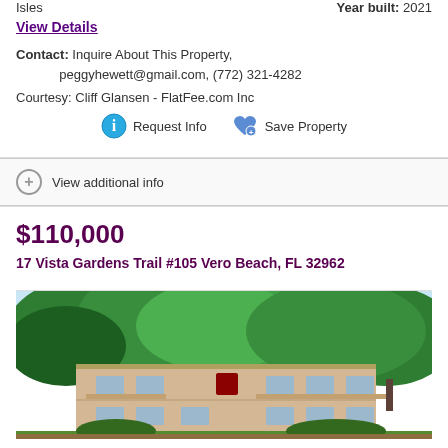Isles
Year built: 2021
View Details
Contact: Inquire About This Property, peggyhewett@gmail.com, (772) 321-4282
Courtesy: Cliff Glansen - FlatFee.com Inc
Request Info  Save Property
View additional info
$110,000
17 Vista Gardens Trail #105 Vero Beach, FL 32962
[Figure (photo): Exterior photo of a multi-story residential building with balconies, surrounded by large green trees, under a bright sky.]